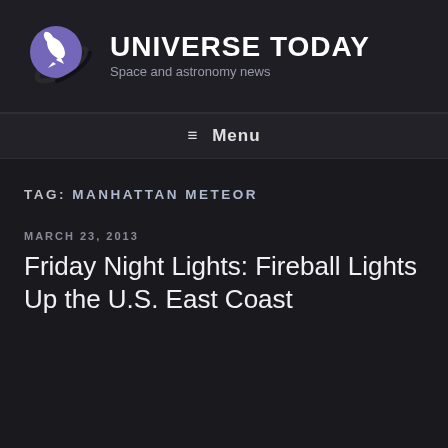[Figure (logo): Universe Today rocket logo — purple circle with white rocket and dark orbital arc]
UNIVERSE TODAY
Space and astronomy news
≡ Menu
TAG: MANHATTAN METEOR
MARCH 23, 2013
Friday Night Lights: Fireball Lights Up the U.S. East Coast